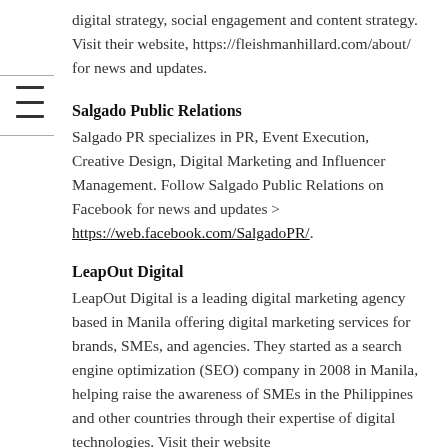digital strategy, social engagement and content strategy. Visit their website, https://fleishmanhillard.com/about/ for news and updates.
Salgado Public Relations
Salgado PR specializes in PR, Event Execution, Creative Design, Digital Marketing and Influencer Management. Follow Salgado Public Relations on Facebook for news and updates > https://web.facebook.com/SalgadoPR/.
LeapOut Digital
LeapOut Digital is a leading digital marketing agency based in Manila offering digital marketing services for brands, SMEs, and agencies. They started as a search engine optimization (SEO) company in 2008 in Manila, helping raise the awareness of SMEs in the Philippines and other countries through their expertise of digital technologies. Visit their website